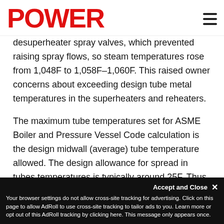POWER
desuperheater spray valves, which prevented raising spray flows, so steam temperatures rose from 1,048F to 1,058F–1,060F. This raised owner concerns about exceeding design tube metal temperatures in the superheaters and reheaters.
The maximum tube temperatures set for ASME Boiler and Pressure Vessel Code calculation is the design midwall (average) tube temperature allowed. The design allowance for spread in tubes temperatures is typically around 25F. Thus, the average tube temperatures should be 25F below the design temperature. The tube temperatures at the actual operating conditions were checked at the higher steam temperature for acceptability, as shown in Table. The
Accept and Close ✕
Your browser settings do not allow cross-site tracking for advertising. Click on this page to allow AdRoll to use cross-site tracking to tailor ads to you. Learn more or opt out of this AdRoll tracking by clicking here. This message only appears once.